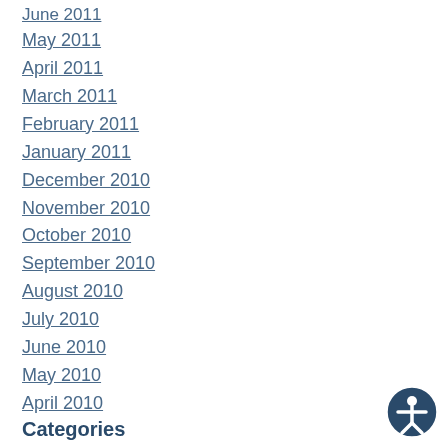June 2011
May 2011
April 2011
March 2011
February 2011
January 2011
December 2010
November 2010
October 2010
September 2010
August 2010
July 2010
June 2010
May 2010
April 2010
Categories
About Sleep
Bad Breath
Children's Dentistry
Community Events
Cosmetic Dentistry
Dental Advancements